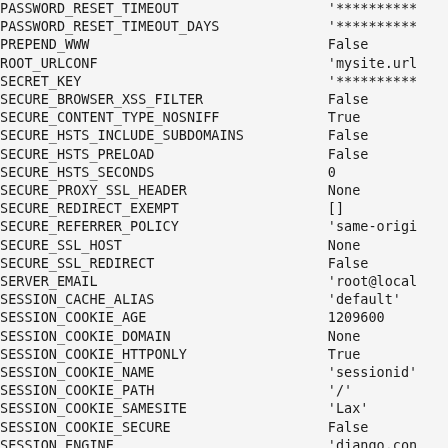| Setting | Value |
| --- | --- |
| PASSWORD_RESET_TIMEOUT | '********** |
| PASSWORD_RESET_TIMEOUT_DAYS | '********** |
| PREPEND_WWW | False |
| ROOT_URLCONF | 'mysite.url |
| SECRET_KEY | '********** |
| SECURE_BROWSER_XSS_FILTER | False |
| SECURE_CONTENT_TYPE_NOSNIFF | True |
| SECURE_HSTS_INCLUDE_SUBDOMAINS | False |
| SECURE_HSTS_PRELOAD | False |
| SECURE_HSTS_SECONDS | 0 |
| SECURE_PROXY_SSL_HEADER | None |
| SECURE_REDIRECT_EXEMPT | [] |
| SECURE_REFERRER_POLICY | 'same-origi |
| SECURE_SSL_HOST | None |
| SECURE_SSL_REDIRECT | False |
| SERVER_EMAIL | 'root@local |
| SESSION_CACHE_ALIAS | 'default' |
| SESSION_COOKIE_AGE | 1209600 |
| SESSION_COOKIE_DOMAIN | None |
| SESSION_COOKIE_HTTPONLY | True |
| SESSION_COOKIE_NAME | 'sessionid' |
| SESSION_COOKIE_PATH | '/' |
| SESSION_COOKIE_SAMESITE | 'Lax' |
| SESSION_COOKIE_SECURE | False |
| SESSION_ENGINE | 'django.con |